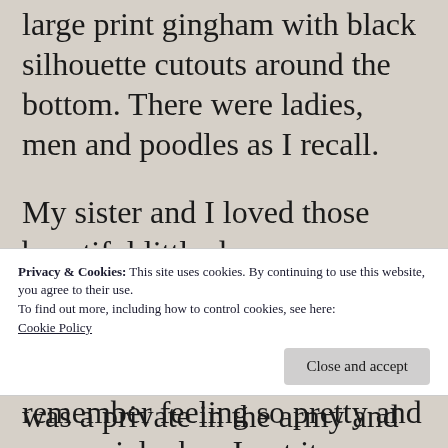large print gingham with black silhouette cutouts around the bottom. There were ladies, men and poodles as I recall.
My sister and I loved those beautiful little dresses.  Grandma even bought us matching white patent leather shoes to wear with them.  I remember feeling so pretty and so special when I put it on.
Privacy & Cookies: This site uses cookies. By continuing to use this website, you agree to their use.
To find out more, including how to control cookies, see here:
Cookie Policy
Close and accept
was a private in the army and was gone